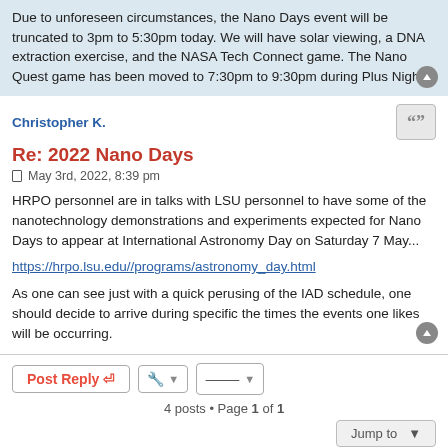Due to unforeseen circumstances, the Nano Days event will be truncated to 3pm to 5:30pm today. We will have solar viewing, a DNA extraction exercise, and the NASA Tech Connect game. The Nano Quest game has been moved to 7:30pm to 9:30pm during Plus Night.
Christopher K.
Re: 2022 Nano Days
May 3rd, 2022, 8:39 pm
HRPO personnel are in talks with LSU personnel to have some of the nanotechnology demonstrations and experiments expected for Nano Days to appear at International Astronomy Day on Saturday 7 May...
https://hrpo.lsu.edu//programs/astronomy_day.html
As one can see just with a quick perusing of the IAD schedule, one should decide to arrive during specific the times the events one likes will be occurring.
4 posts • Page 1 of 1